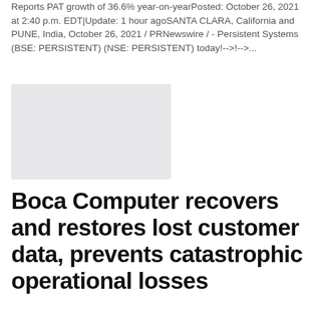Reports PAT growth of 36.6% year-on-yearPosted: October 26, 2021 at 2:40 p.m. EDT|Update: 1 hour agoSANTA CLARA, California and PUNE, India, October 26, 2021 / PRNewswire / - Persistent Systems (BSE: PERSISTENT) (NSE: PERSISTENT) today!-->!-->...
[Figure (photo): Gray placeholder image box]
Boca Computer recovers and restores lost customer data, prevents catastrophic operational losses